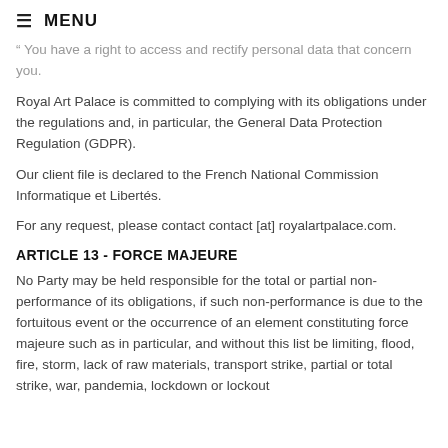≡ MENU
" You have a right to access and rectify personal data that concern you.
Royal Art Palace is committed to complying with its obligations under the regulations and, in particular, the General Data Protection Regulation (GDPR).
Our client file is declared to the French National Commission Informatique et Libertés.
For any request, please contact contact [at] royalartpalace.com.
ARTICLE 13 - FORCE MAJEURE
No Party may be held responsible for the total or partial non-performance of its obligations, if such non-performance is due to the fortuitous event or the occurrence of an element constituting force majeure such as in particular, and without this list be limiting, flood, fire, storm, lack of raw materials, transport strike, partial or total strike, war, pandemia, lockdown or lockout